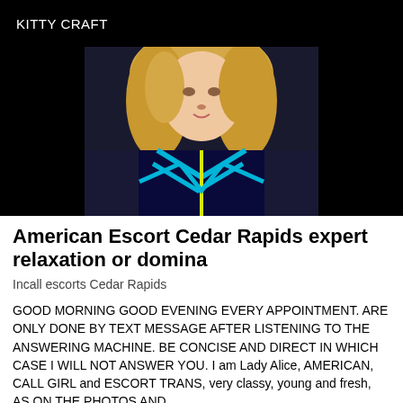KITTY CRAFT
[Figure (photo): Photo of a blonde woman wearing a blue and cyan geometric patterned outfit, photographed from the waist up, with black background on sides]
American Escort Cedar Rapids expert relaxation or domina
Incall escorts Cedar Rapids
GOOD MORNING GOOD EVENING EVERY APPOINTMENT. ARE ONLY DONE BY TEXT MESSAGE AFTER LISTENING TO THE ANSWERING MACHINE. BE CONCISE AND DIRECT IN WHICH CASE I WILL NOT ANSWER YOU. I am Lady Alice, AMERICAN, CALL GIRL and ESCORT TRANS, very classy, young and fresh, AS ON THE PHOTOS AND